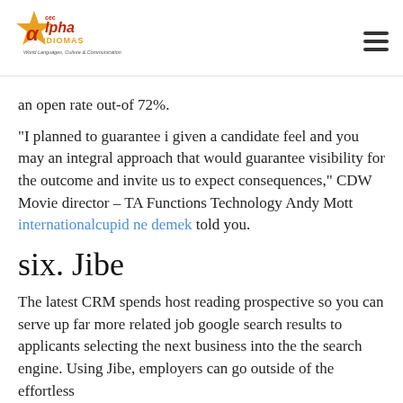CEC Alpha Idiomas — World Languages Culture & Communication
an open rate out-of 72%.
“I planned to guarantee i given a candidate feel and you may an integral approach that would guarantee visibility for the outcome and invite us to expect consequences,” CDW Movie director – TA Functions Technology Andy Mott internationalcupid ne demek told you.
six. Jibe
The latest CRM spends host reading prospective so you can serve up far more related job google search results to applicants selecting the next business into the the search engine. Using Jibe, employers can go outside of the effortless